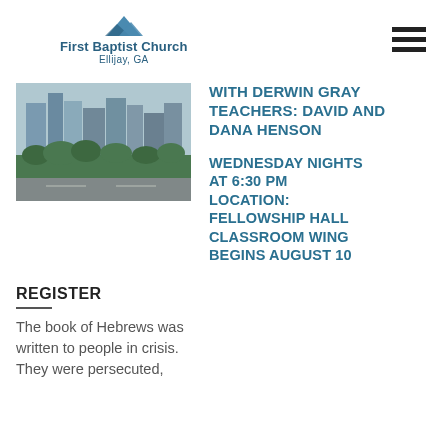First Baptist Church Ellijay, GA
[Figure (photo): Aerial city photo showing buildings and green trees]
WITH DERWIN GRAY TEACHERS: DAVID AND DANA HENSON
WEDNESDAY NIGHTS AT 6:30 PM LOCATION: FELLOWSHIP HALL CLASSROOM WING BEGINS AUGUST 10
REGISTER
The book of Hebrews was written to people in crisis. They were persecuted,